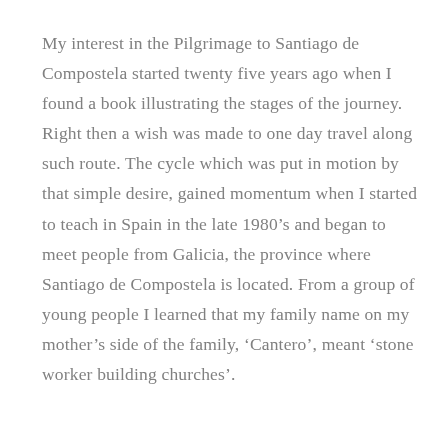My interest in the Pilgrimage to Santiago de Compostela started twenty five years ago when I found a book illustrating the stages of the journey. Right then a wish was made to one day travel along such route. The cycle which was put in motion by that simple desire, gained momentum when I started to teach in Spain in the late 1980’s and began to meet people from Galicia, the province where Santiago de Compostela is located. From a group of young people I learned that my family name on my mother’s side of the family, ‘Cantero’, meant ‘stone worker building churches’.